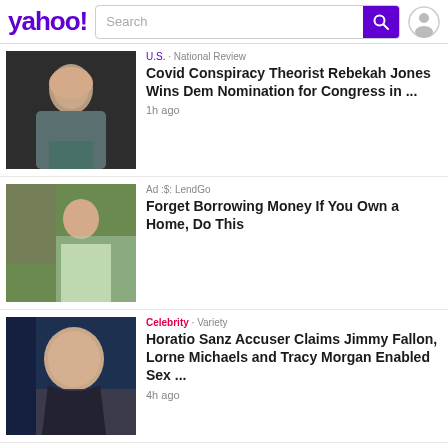yahoo! Search
[Figure (photo): Photo of a young blonde woman]
U.S. · National Review
Covid Conspiracy Theorist Rebekah Jones Wins Dem Nomination for Congress in ...
1h ago
[Figure (photo): Photo of a woman in a light green dress outdoors]
Ad :$: LendGo
Forget Borrowing Money If You Own a Home, Do This
[Figure (photo): Photo of a smiling man in a suit]
Celebrity · Variety
Horatio Sanz Accuser Claims Jimmy Fallon, Lorne Michaels and Tracy Morgan Enabled Sex ...
4h ago